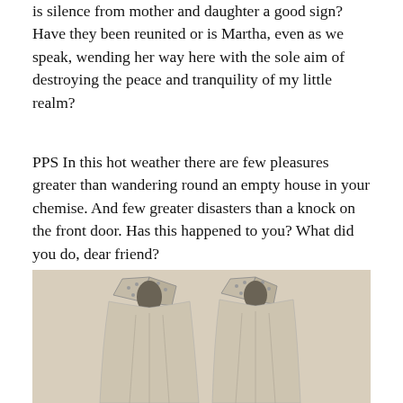is silence from mother and daughter a good sign? Have they been reunited or is Martha, even as we speak, wending her way here with the sole aim of destroying the peace and tranquility of my little realm?
PPS In this hot weather there are few pleasures greater than wandering round an empty house in your chemise. And few greater disasters than a knock on the front door. Has this happened to you? What did you do, dear friend?
[Figure (illustration): A pencil or engraving illustration showing two views of a chemise or loose garment hanging from a collar/neckline, displayed side by side against a beige/tan background. The garments show decorative collars with button or dot embellishments.]